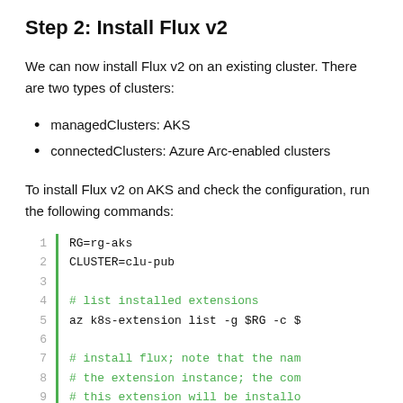Step 2: Install Flux v2
We can now install Flux v2 on an existing cluster. There are two types of clusters:
managedClusters: AKS
connectedClusters: Azure Arc-enabled clusters
To install Flux v2 on AKS and check the configuration, run the following commands:
[Figure (screenshot): Code block with line numbers and a green vertical bar. Lines 1-9 of shell script: RG=rg-aks, CLUSTER=clu-pub, blank, # list installed extensions, az k8s-extension list -g $RG -c $, blank, # install flux; note that the nam, # the extension instance; the com, # this extension will be installo]